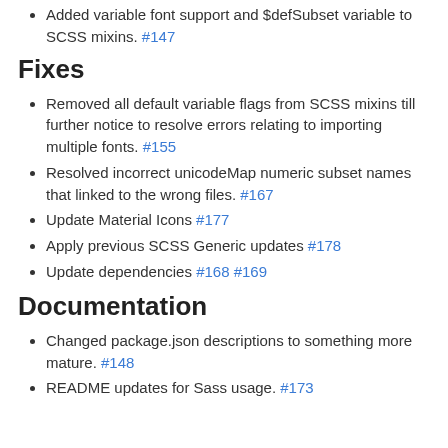Added variable font support and $defSubset variable to SCSS mixins. #147
Fixes
Removed all default variable flags from SCSS mixins till further notice to resolve errors relating to importing multiple fonts. #155
Resolved incorrect unicodeMap numeric subset names that linked to the wrong files. #167
Update Material Icons #177
Apply previous SCSS Generic updates #178
Update dependencies #168 #169
Documentation
Changed package.json descriptions to something more mature. #148
README updates for Sass usage. #173